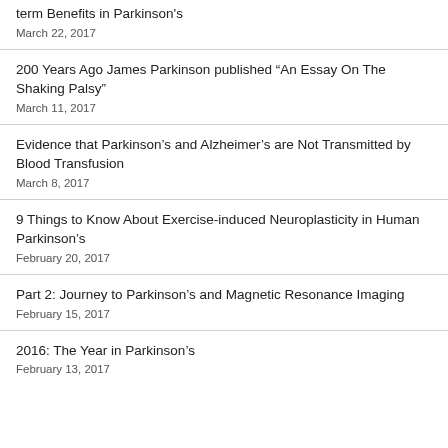term Benefits in Parkinson's
March 22, 2017
200 Years Ago James Parkinson published “An Essay On The Shaking Palsy”
March 11, 2017
Evidence that Parkinson’s and Alzheimer’s are Not Transmitted by Blood Transfusion
March 8, 2017
9 Things to Know About Exercise-induced Neuroplasticity in Human Parkinson’s
February 20, 2017
Part 2: Journey to Parkinson’s and Magnetic Resonance Imaging
February 15, 2017
2016: The Year in Parkinson’s
February 13, 2017